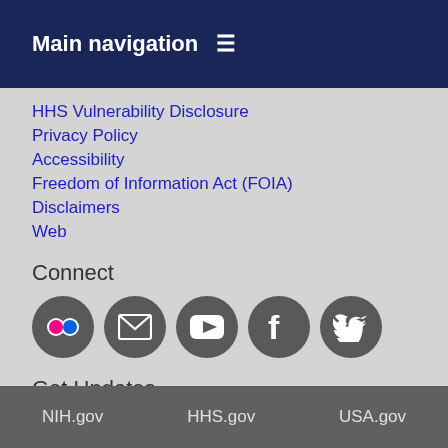Main navigation
HHS Vulnerability Disclosure
Privacy Policy
Accessibility
Freedom of Information Act (FOIA)
Disclaimers
Web
Connect
[Figure (infographic): Row of five social media icon circles: Flickr, Email, YouTube, Facebook, Twitter]
Get Updates
[Figure (infographic): Email envelope icon with @ symbol]
Subscribe to our newsletter and email updates
NIH.gov   HHS.gov   USA.gov